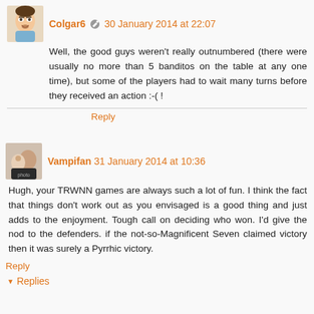Colgar6 30 January 2014 at 22:07
Well, the good guys weren't really outnumbered (there were usually no more than 5 banditos on the table at any one time), but some of the players had to wait many turns before they received an action :-( !
Reply
Vampifan 31 January 2014 at 10:36
Hugh, your TRWNN games are always such a lot of fun. I think the fact that things don't work out as you envisaged is a good thing and just adds to the enjoyment. Tough call on deciding who won. I'd give the nod to the defenders. if the not-so-Magnificent Seven claimed victory then it was surely a Pyrrhic victory.
Reply
Replies